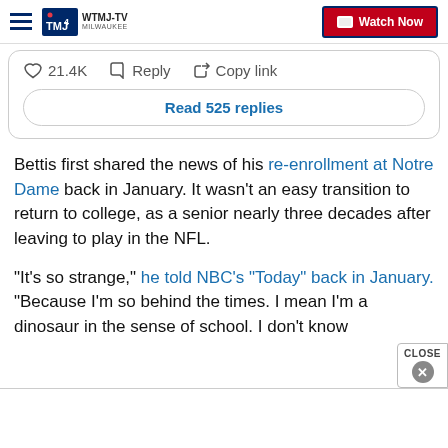WTMJ-TV MILWAUKEE | Watch Now
[Figure (screenshot): Twitter/X post interaction bar showing heart icon with 21.4K likes, Reply button, Copy link button, and a 'Read 525 replies' button]
Bettis first shared the news of his re-enrollment at Notre Dame back in January. It wasn't an easy transition to return to college, as a senior nearly three decades after leaving to play in the NFL.
“It’s so strange,” he told NBC’s “Today” back in January. “Because I’m so behind the times. I mean I’m a dinosaur in the sense of school. I don’t know